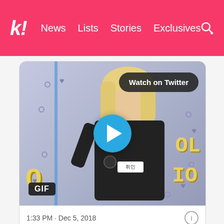k! News  Lists  Stories  Exclusives
[Figure (screenshot): Twitter embedded GIF/video showing a person with blonde bob haircut wearing a black coat and name badge reading '휘민', standing in front of a purple/blue backdrop with pixel-style text reading 'IDOL STUDIO'. A blue play button circle is centered on the image. A 'Watch on Twitter' pill button appears in the top right. A 'GIF' badge appears in the bottom left.]
1:33 PM · Dec 5, 2018
ⓘ